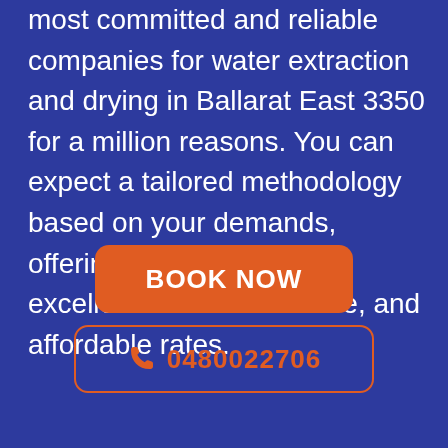most committed and reliable companies for water extraction and drying in Ballarat East 3350 for a million reasons. You can expect a tailored methodology based on your demands, offering timely solutions, excellent customer service, and affordable rates.
BOOK NOW
0480022706